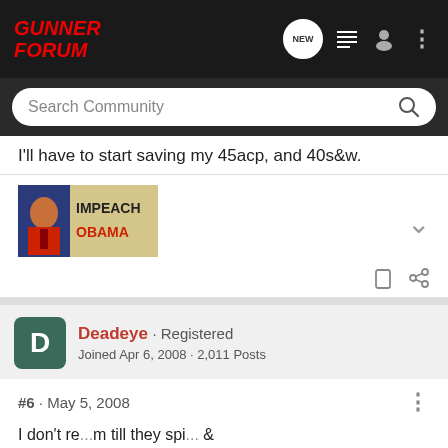Gunner Forum
I'll have to start saving my 45acp, and 40s&w.
[Figure (photo): Impeach Obama avatar/badge image]
Deadeye · Registered
Joined Apr 6, 2008 · 2,011 Posts
#6 · May 5, 2008
I don't re... m till they spi... & 44mag... brass
[Figure (screenshot): Bass Pro Shops ad: Highest-Rated Gear, rating 4.9 stars]